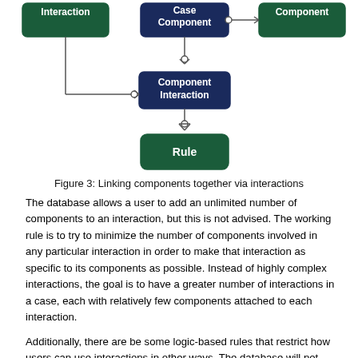[Figure (engineering-diagram): UML-style class diagram showing relationships between Interaction, Case Component, Component, Component Interaction, and Rule entities connected by lines with open-circle and arrow notations.]
Figure 3: Linking components together via interactions
The database allows a user to add an unlimited number of components to an interaction, but this is not advised. The working rule is to try to minimize the number of components involved in any particular interaction in order to make that interaction as specific to its components as possible. Instead of highly complex interactions, the goal is to have a greater number of interactions in a case, each with relatively few components attached to each interaction.
Additionally, there are be some logic-based rules that restrict how users can use interactions in other ways. The database will not allow users to violate these rules when they enter data for their case. These rules are specific to two the different types of interactions that the database currently contains. The first is a Governance Interaction, and the second is a Biophysical